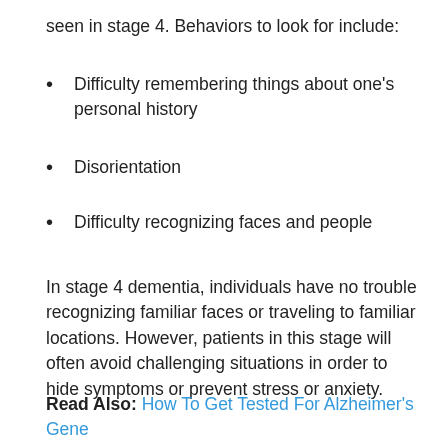seen in stage 4. Behaviors to look for include:
Difficulty remembering things about one's personal history
Disorientation
Difficulty recognizing faces and people
In stage 4 dementia, individuals have no trouble recognizing familiar faces or traveling to familiar locations. However, patients in this stage will often avoid challenging situations in order to hide symptoms or prevent stress or anxiety.
Read Also: How To Get Tested For Alzheimer's Gene